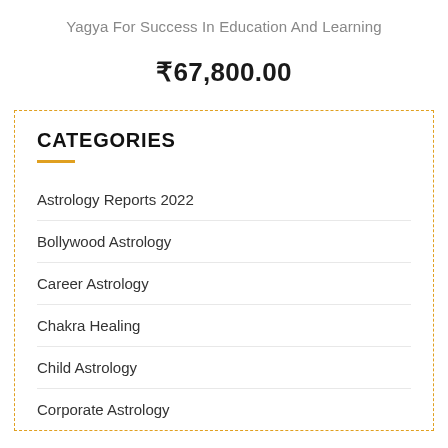Yagya For Success In Education And Learning
₹67,800.00
CATEGORIES
Astrology Reports 2022
Bollywood Astrology
Career Astrology
Chakra Healing
Child Astrology
Corporate Astrology